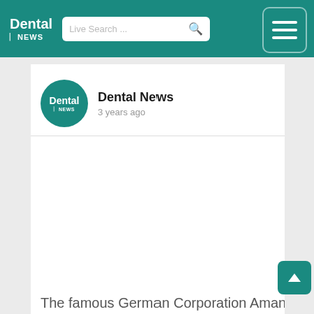Dental NEWS — Live Search
Dental News
3 years ago
The famous German Corporation Amann